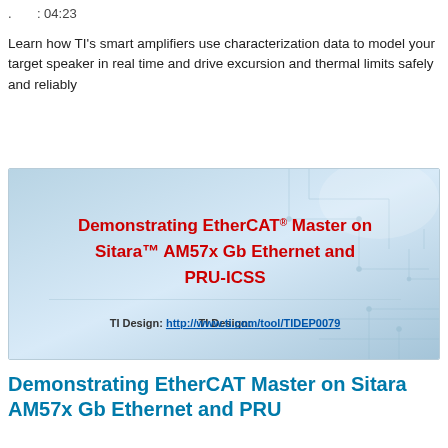. : 04:23
Learn how TI's smart amplifiers use characterization data to model your target speaker in real time and drive excursion and thermal limits safely and reliably
[Figure (screenshot): Thumbnail image for a TI video/design resource titled 'Demonstrating EtherCAT® Master on Sitara™ AM57x Gb Ethernet and PRU-ICSS' with TI Design link http://www.ti.com/tool/TIDEP0079, shown on a light blue circuit-board background.]
Demonstrating EtherCAT Master on Sitara AM57x Gb Ethernet and PRU